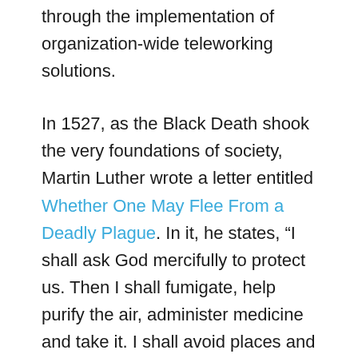through the implementation of organization-wide teleworking solutions.
In 1527, as the Black Death shook the very foundations of society, Martin Luther wrote a letter entitled Whether One May Flee From a Deadly Plague. In it, he states, “I shall ask God mercifully to protect us. Then I shall fumigate, help purify the air, administer medicine and take it. I shall avoid places and persons where my presence is not needed in order not to become contaminated and thus perchance inflict and pollute others